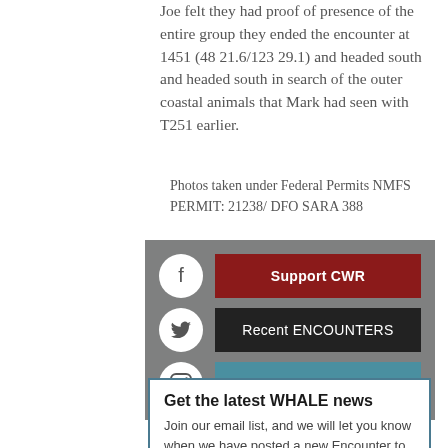Joe felt they had proof of presence of the entire group they ended the encounter at 1451 (48 21.6/123 29.1) and headed south and headed south in search of the outer coastal animals that Mark had seen with T251 earlier.
Photos taken under Federal Permits NMFS PERMIT: 21238/ DFO SARA 388
[Figure (infographic): Gray sidebar with social media icons (Facebook, Twitter, Instagram) and three buttons: Support CWR (dark red), Recent ENCOUNTERS (black), Outreach & Education (teal)]
Get the latest WHALE news
Join our email list, and we will let you know when we have posted a new Encounter to our website. Fill out this form, and you're on!